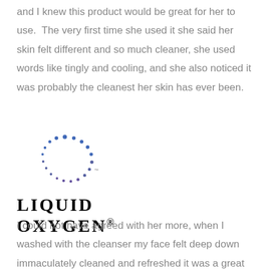and I knew this product would be great for her to use. The very first time she used it she said her skin felt different and so much cleaner, she used words like tingly and cooling, and she also noticed it was probably the cleanest her skin has ever been.
[Figure (logo): Liquid Oxygen logo: circular arrangement of blue and purple dots forming an arc/circle above the text 'LIQUID OXYGEN' in bold serif uppercase letters with a registered trademark symbol]
I could not have agreed with her more, when I washed with the cleanser my face felt deep down immaculately cleaned and refreshed it was a great